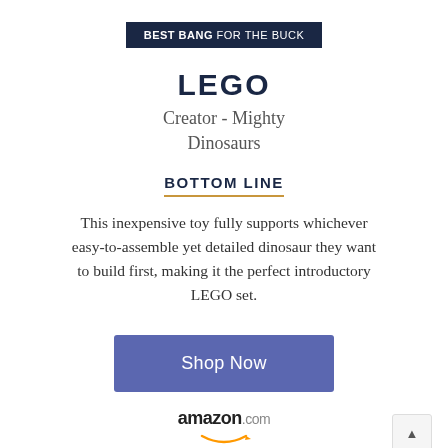BEST BANG FOR THE BUCK
LEGO
Creator - Mighty Dinosaurs
BOTTOM LINE
This inexpensive toy fully supports whichever easy-to-assemble yet detailed dinosaur they want to build first, making it the perfect introductory LEGO set.
Shop Now
amazon.com